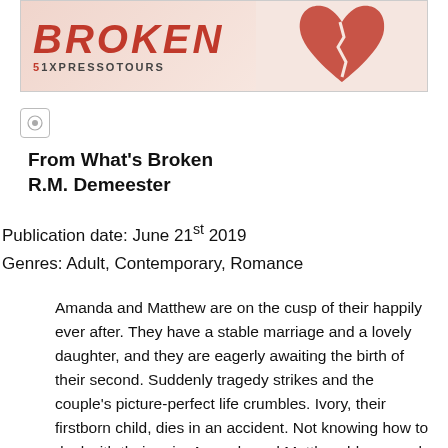[Figure (illustration): Book tour banner for 'From What's Broken' with red stylized broken text on cream/pink background and a red broken heart/book graphic on the right, with 'XPRESSO TOURS' logo below the title]
From What's Broken
R.M. Demeester
Publication date: June 21st 2019
Genres: Adult, Contemporary, Romance
Amanda and Matthew are on the cusp of their happily ever after. They have a stable marriage and a lovely daughter, and they are eagerly awaiting the birth of their second. Suddenly tragedy strikes and the couple's picture-perfect life crumbles. Ivory, their firstborn child, dies in an accident. Not knowing how to deal with their pain, Amanda and Matthew blame each other for their loss and drift apart. They soon realize their relationship might not bear the burden, leaving their surviving daughter to cope with the aftermath of two grief-stricken parents.